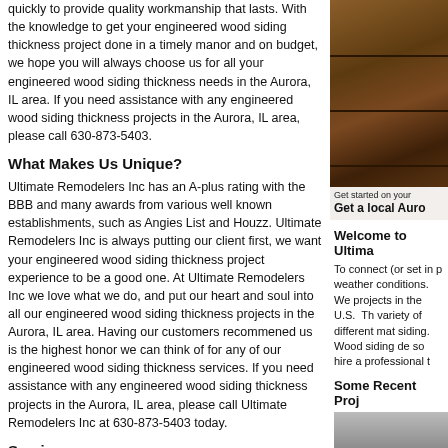quickly to provide quality workmanship that lasts. With the knowledge to get your engineered wood siding thickness project done in a timely manor and on budget, we hope you will always choose us for all your engineered wood siding thickness needs in the Aurora, IL area. If you need assistance with any engineered wood siding thickness projects in the Aurora, IL area, please call 630-873-5403.
[Figure (photo): Close-up photo of brown/orange brick or wood siding texture]
Get started on your
Get a local Auro
What Makes Us Unique?
Ultimate Remodelers Inc has an A-plus rating with the BBB and many awards from various well known establishments, such as Angies List and Houzz. Ultimate Remodelers Inc is always putting our client first, we want your engineered wood siding thickness project experience to be a good one. At Ultimate Remodelers Inc we love what we do, and put our heart and soul into all our engineered wood siding thickness projects in the Aurora, IL area. Having our customers recommened us is the highest honor we can think of for any of our engineered wood siding thickness services. If you need assistance with any engineered wood siding thickness projects in the Aurora, IL area, please call Ultimate Remodelers Inc at 630-873-5403 today.
Welcome to Ultima
To connect (or set in p weather conditions. We projects in the U.S. Th variety of different mat siding. Wood siding de so hire a professional t
Services
Some Recent Proj
[Figure (photo): Partial photo of siding or roofing material, gray tones]